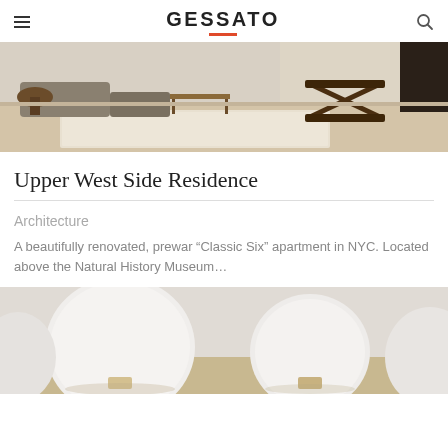GESSATO
[Figure (photo): Interior room photo showing a living space with wooden furniture, a gray sofa/ottoman, a mid-century style chair, and light wood flooring with a white rug]
Upper West Side Residence
Architecture
A beautifully renovated, prewar “Classic Six” apartment in NYC. Located above the Natural History Museum…
[Figure (photo): Close-up photo of white globe lamps on a light wood surface with soft gray/white tones]